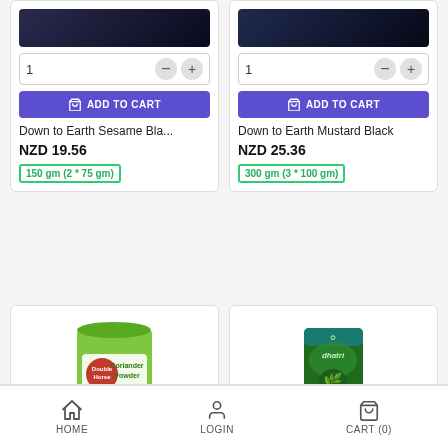[Figure (screenshot): Product card for Down to Earth Sesame Bla... with quantity selector showing 1, minus and plus buttons, purple ADD TO CART button, price NZD 19.56, weight badge 150 gm (2 * 75 gm)]
[Figure (screenshot): Product card for Down to Earth Mustard Black with quantity selector showing 1, minus and plus buttons, purple ADD TO CART button, price NZD 25.36, weight badge 300 gm (3 * 100 gm)]
[Figure (screenshot): Bottom product card showing Double Horse Coriander Powder package with green and white packaging]
[Figure (screenshot): Bottom product card showing Dhatri product with green packaging]
HOME    LOGIN    CART (0)